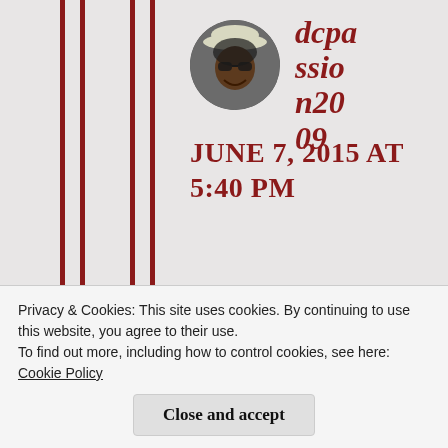[Figure (photo): Circular avatar photo of a woman wearing a white hat and sunglasses, smiling]
dcpassion2009
JUNE 7, 2015 AT 5:40 PM
Do you
Privacy & Cookies: This site uses cookies. By continuing to use this website, you agree to their use.
To find out more, including how to control cookies, see here:
Cookie Policy
Close and accept